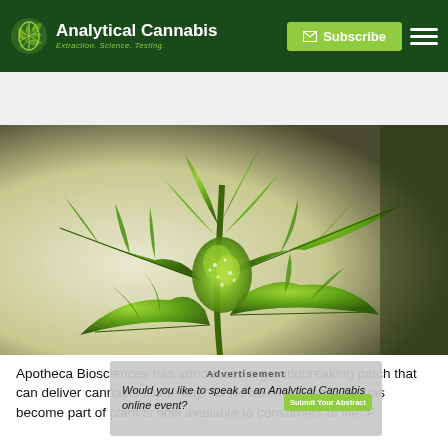Analytical Cannabis — Extraction. Science. Testing.
Get PDF Version
[Figure (photo): Close-up photograph of a flowering cannabis plant with bright green leaves and white trichomes on the bud, against a light/blurred background.]
Apotheca Biosciences has announced a groundbreaking patch that can deliver cannabis tissue day. As we all know, cannabis has become part of plant is now available to consumers...
Advertisement — Would you like to speak at an Analytical Cannabis online event? — Submit Your Abstract